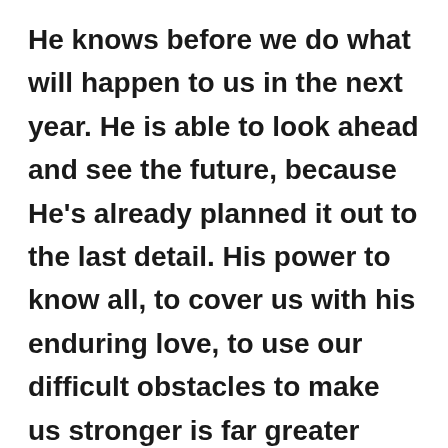He knows before we do what will happen to us in the next year. He is able to look ahead and see the future, because He's already planned it out to the last detail. His power to know all, to cover us with his enduring love, to use our difficult obstacles to make us stronger is far greater than we can imagine. He is God. He is perfect. He knows the plans He has for us and they are to prosper us in every